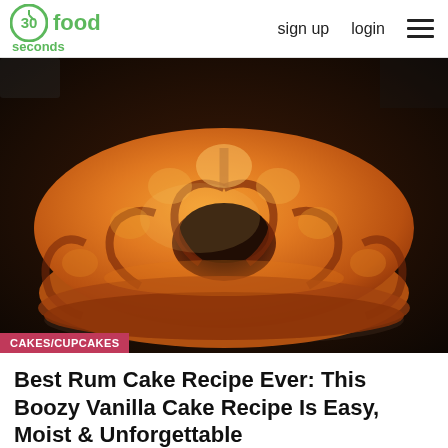30 seconds food | sign up  login
[Figure (photo): A golden-brown bundt rum cake sitting on a dark plate, photographed from slightly above. The cake has deep ridges and a rich, caramelized exterior.]
CAKES/CUPCAKES
Best Rum Cake Recipe Ever: This Boozy Vanilla Cake Recipe Is Easy, Moist & Unforgettable